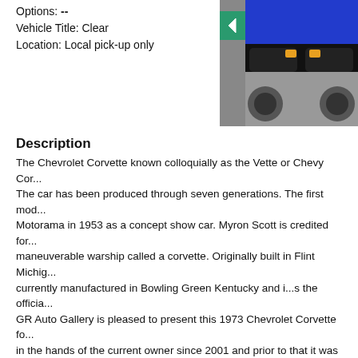Options: --
Vehicle Title: Clear
Location: Local pick-up only
[Figure (photo): Blue Chevrolet Corvette front end viewed from slightly above, in a garage setting. A green navigation back arrow button overlays the left side of the image.]
Description
The Chevrolet Corvette known colloquially as the Vette or Chevy Cor... The car has been produced through seven generations. The first mod... Motorama in 1953 as a concept show car. Myron Scott is credited for... maneuverable warship called a corvette. Originally built in Flint Michig... currently manufactured in Bowling Green Kentucky and i...s the officia... GR Auto Gallery is pleased to present this 1973 Chevrolet Corvette fo... in the hands of the current owner since 2001 and prior to that it was i... believed to be all original including the 350 cubic inch V8 motor and t... Mechanically this Vette is spot on and can be driven anywhere the ve... recently this vehicle had a newer exhaust installed and also a fresh re... a working heater power brakes front and rear disc brakes T-Tops a fu... for those who love the 70's era Corvette and enjoy a uniquely beautifu... have while it's still here! To see over 80 photos of this car including u...